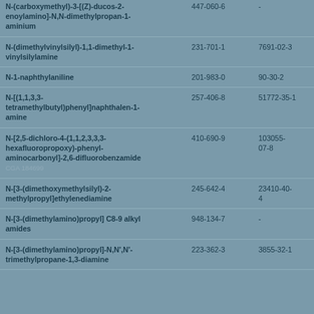| Substance Name | EC Number | CAS Number |
| --- | --- | --- |
| N-(carboxymethyl)-3-[(Z)-ducos-2-enoylamino]-N,N-dimethylpropan-1-aminium | 447-060-6 | - |
| N-(dimethylvinylsilyl)-1,1-dimethyl-1-vinylsilylamine | 231-701-1 | 7691-02-3 |
| N-1-naphthylaniline | 201-983-0 | 90-30-2 |
| N-[(1,1,3,3-tetramethylbutyl)phenyl]naphthalen-1-amine | 257-406-8 | 51772-35-1 |
| N-[2,5-dichloro-4-(1,1,2,3,3,3-hexafluoropropoxy)-phenyl-aminocarbonyl]-2,6-difluorobenzamide
CGA 184699 | 410-690-9 | 103055-07-8 |
| N-[3-(dimethoxymethylsilyl)-2-methylpropyl]ethylenediamine | 245-642-4 | 23410-40-4 |
| N-[3-(dimethylamino)propyl] C8-9 alkyl amides | 948-134-7 | - |
| N-[3-(dimethylamino)propyl]-N,N',N'-trimethylpropane-1,3-diamine | 223-362-3 | 3855-32-1 |